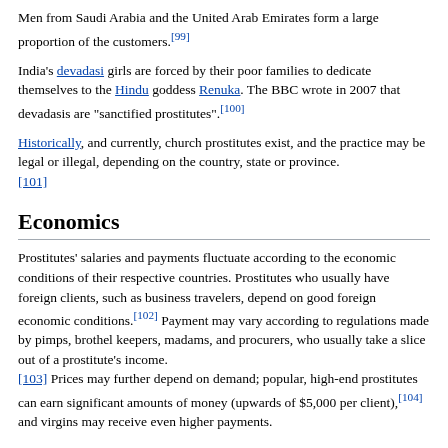Men from Saudi Arabia and the United Arab Emirates form a large proportion of the customers.[99]
India's devadasi girls are forced by their poor families to dedicate themselves to the Hindu goddess Renuka. The BBC wrote in 2007 that devadasis are "sanctified prostitutes".[100]
Historically, and currently, church prostitutes exist, and the practice may be legal or illegal, depending on the country, state or province.[101]
Economics
Prostitutes' salaries and payments fluctuate according to the economic conditions of their respective countries. Prostitutes who usually have foreign clients, such as business travelers, depend on good foreign economic conditions.[102] Payment may vary according to regulations made by pimps, brothel keepers, madams, and procurers, who usually take a slice out of a prostitute's income.[103] Prices may further depend on demand; popular, high-end prostitutes can earn significant amounts of money (upwards of $5,000 per client),[104] and virgins may receive even higher payments.